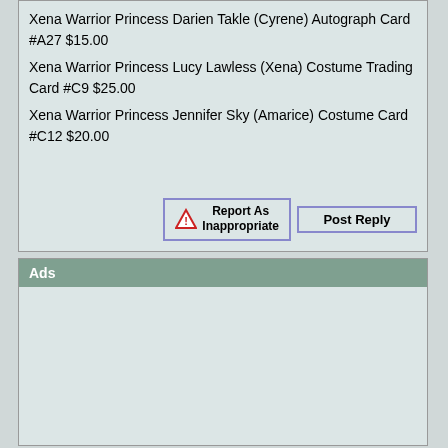Xena Warrior Princess Darien Takle (Cyrene) Autograph Card #A27 $15.00
Xena Warrior Princess Lucy Lawless (Xena) Costume Trading Card #C9 $25.00
Xena Warrior Princess Jennifer Sky (Amarice) Costume Card #C12 $20.00
Ads